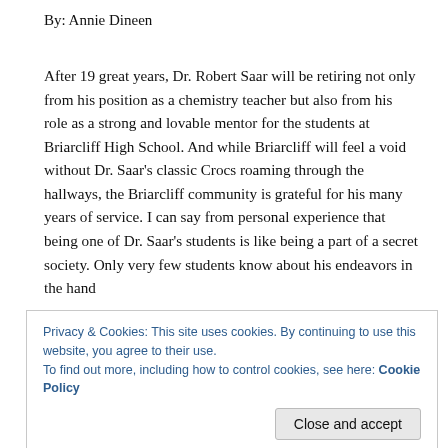By: Annie Dineen
After 19 great years, Dr. Robert Saar will be retiring not only from his position as a chemistry teacher but also from his role as a strong and lovable mentor for the students at Briarcliff High School. And while Briarcliff will feel a void without Dr. Saar's classic Crocs roaming through the hallways, the Briarcliff community is grateful for his many years of service. I can say from personal experience that being one of Dr. Saar's students is like being a part of a secret society. Only very few students know about his endeavors in the hand
Privacy & Cookies: This site uses cookies. By continuing to use this website, you agree to their use.
To find out more, including how to control cookies, see here: Cookie Policy
Close and accept
By: Saar already appears to be a recurring...